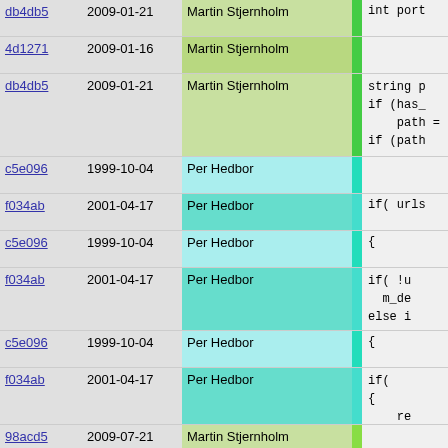| hash | date | author | bar | code |
| --- | --- | --- | --- | --- |
| db4db5 | 2009-01-21 | Martin Stjernholm |  | int port |
| 4d1271 | 2009-01-16 | Martin Stjernholm |  |  |
| db4db5 | 2009-01-21 | Martin Stjernholm |  | string p
if (has_
    path =
if (path |
| c5e096 | 1999-10-04 | Per Hedbor |  |  |
| f034ab | 2001-04-17 | Per Hedbor |  | if( urls |
| c5e096 | 1999-10-04 | Per Hedbor |  | { |
| f034ab | 2001-04-17 | Per Hedbor |  | if( !u
  m_de
else i |
| c5e096 | 1999-10-04 | Per Hedbor |  | { |
| f034ab | 2001-04-17 | Per Hedbor |  | if(
{
    re |
| 98acd5 | 2009-07-21 | Martin Stjernholm |  |  |
| f034ab | 2001-04-17 | Per Hedbor |  | re
}
urls
retu |